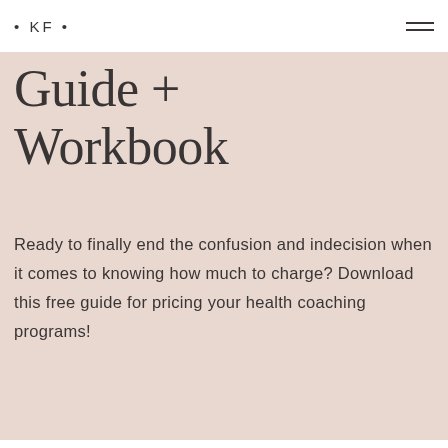• KF •
Guide + Workbook
Ready to finally end the confusion and indecision when it comes to knowing how much to charge? Download this free guide for pricing your health coaching programs!